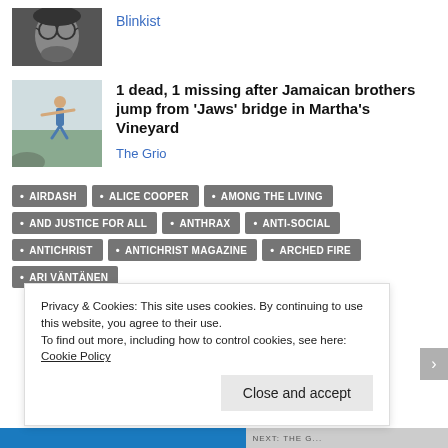[Figure (photo): Black and white portrait of a young man with glasses and curly hair]
Blinkist
[Figure (photo): Person jumping off a bridge or dock over water]
1 dead, 1 missing after Jamaican brothers jump from 'Jaws' bridge in Martha's Vineyard
The Grio
AIRDASH
ALICE COOPER
AMONG THE LIVING
AND JUSTICE FOR ALL
ANTHRAX
ANTI-SOCIAL
ANTICHRIST
ANTICHRIST MAGAZINE
ARCHED FIRE
ARI VÄNTÄNEN
Privacy & Cookies: This site uses cookies. By continuing to use this website, you agree to their use.
To find out more, including how to control cookies, see here: Cookie Policy
Close and accept